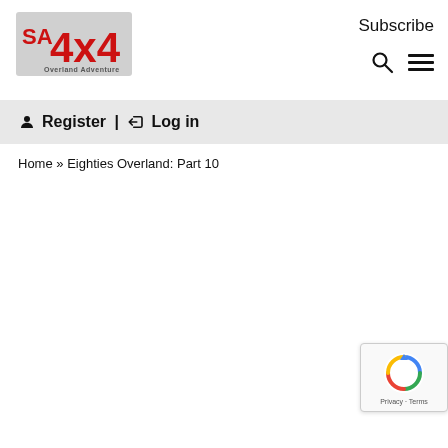[Figure (logo): SA 4x4 Overland Adventure magazine logo with red bold text and grey background rectangle]
Subscribe
👤 Register | ➡ Log in
Home » Eighties Overland: Part 10
[Figure (other): reCAPTCHA badge with Google reCAPTCHA logo, Privacy and Terms text]